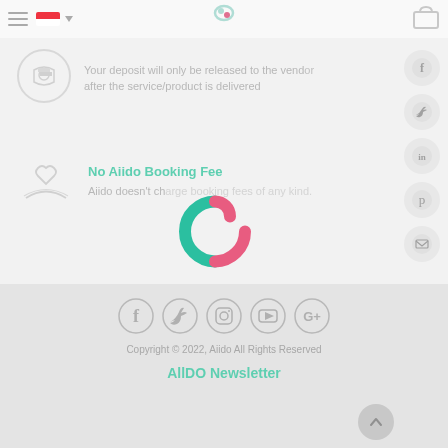[Figure (logo): Aiido website header with hamburger menu, Singapore flag dropdown, Aiido logo, and cart icon]
Your deposit will only be released to the vendor after the service/product is delivered
[Figure (illustration): Hand holding a heart icon representing care/trust feature]
No Aiido Booking Fee
Aiido doesn't charge booking fees of any kind.
[Figure (logo): Aiido spinning logo loading overlay - teal and pink interlinked circles]
[Figure (infographic): Social media sidebar icons: Facebook, Twitter, LinkedIn, Pinterest, Email]
[Figure (infographic): Footer social media icons: Facebook, Twitter, Instagram, YouTube, Google+]
Copyright © 2022, Aiido All Rights Reserved
AllDO Newsletter